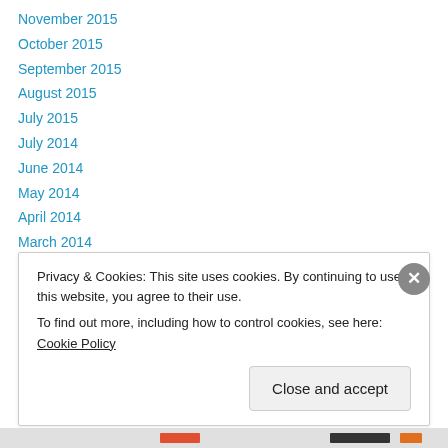November 2015
October 2015
September 2015
August 2015
July 2015
July 2014
June 2014
May 2014
April 2014
March 2014
February 2014
January 2014
December 2013
Privacy & Cookies: This site uses cookies. By continuing to use this website, you agree to their use. To find out more, including how to control cookies, see here: Cookie Policy
Close and accept